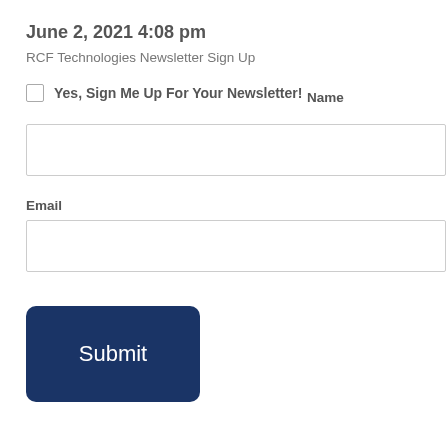June 2, 2021 4:08 pm
RCF Technologies Newsletter Sign Up
Yes, Sign Me Up For Your Newsletter!
Name
[Figure (other): Empty text input field for Name]
Email
[Figure (other): Empty text input field for Email]
[Figure (other): Submit button with dark navy blue background and white text reading Submit]